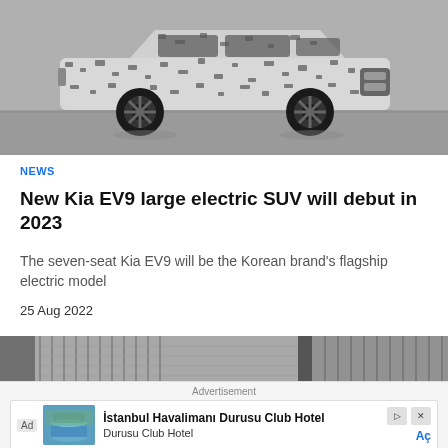[Figure (photo): A camouflaged Kia EV9 electric SUV prototype driving on a test track, black and white camouflage wrap, black alloy wheels, grey tarmac background]
NEWS
New Kia EV9 large electric SUV will debut in 2023
The seven-seat Kia EV9 will be the Korean brand's flagship electric model
25 Aug 2022
[Figure (photo): Partially visible second photo below the article]
Advertisement
İstanbul Havalimanı Durusu Club Hotel Durusu Club Hotel